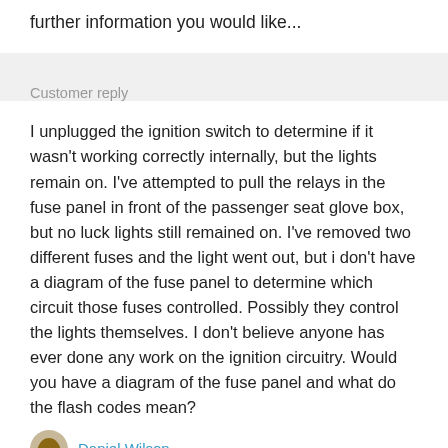further information you would like...
Customer reply
I unplugged the ignition switch to determine if it wasn't working correctly internally, but the lights remain on. I've attempted to pull the relays in the fuse panel in front of the passenger seat glove box, but no luck lights still remained on. I've removed two different fuses and the light went out, but i don't have a diagram of the fuse panel to determine which circuit those fuses controlled. Possibly they control the lights themselves. I don't believe anyone has ever done any work on the ignition circuitry. Would you have a diagram of the fuse panel and what do the flash codes mean?
Daniel Wilson